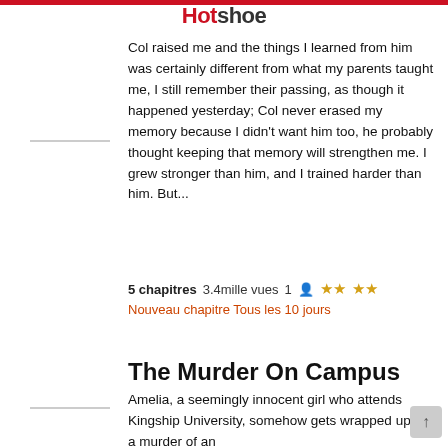Hotshoe
Col raised me and the things I learned from him was certainly different from what my parents taught me, I still remember their passing, as though it happened yesterday; Col never erased my memory because I didn't want him too, he probably thought keeping that memory will strengthen me. I grew stronger than him, and I trained harder than him. But...
5 chapitres   3.4mille vues   1 person   ★★★★
Nouveau chapitre Tous les 10 jours
The Murder On Campus
Amelia, a seemingly innocent girl who attends Kingship University, somehow gets wrapped up in a murder of an